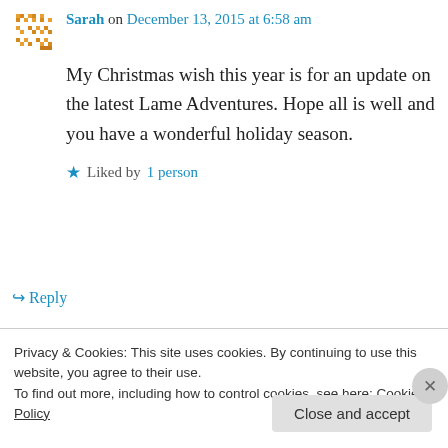Sarah on December 13, 2015 at 6:58 am
My Christmas wish this year is for an update on the latest Lame Adventures. Hope all is well and you have a wonderful holiday season.
Liked by 1 person
Reply
lameadventures on December 13, 2015 at 3:42 pm
Privacy & Cookies: This site uses cookies. By continuing to use this website, you agree to their use.
To find out more, including how to control cookies, see here: Cookie Policy